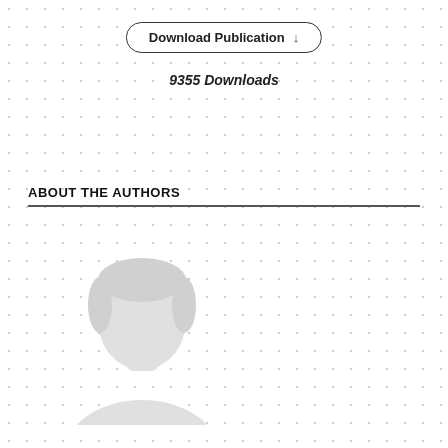Download Publication ↓
9355 Downloads
ABOUT THE AUTHORS
[Figure (illustration): Placeholder silhouette of a person (head and shoulders), light gray color, representing an author profile photo]